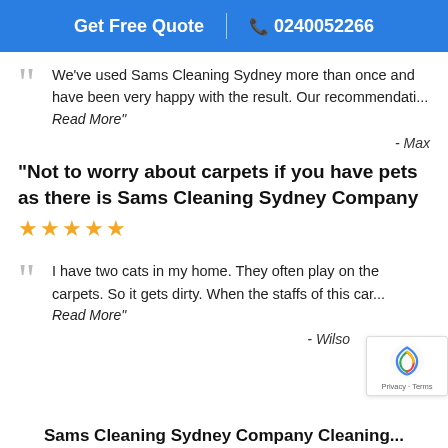Get Free Quote | 0240052266
We've used Sams Cleaning Sydney more than once and have been very happy with the result. Our recommendati... Read More"
- Max
"Not to worry about carpets if you have pets as there is Sams Cleaning Sydney Company
★★★★★
I have two cats in my home. They often play on the carpets. So it gets dirty. When the staffs of this car... Read More"
- Wilso
Sams Cleaning Sydney Company Cleaning...